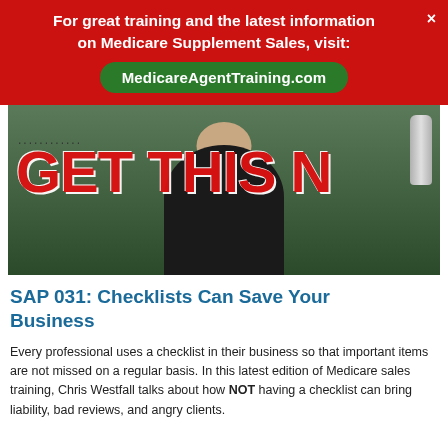For great training and the latest information on Medicare Supplement Sales, visit:
MedicareAgentTraining.com
[Figure (screenshot): Video thumbnail showing a man in a dark shirt sitting at a desk with a microphone, with large red text overlay reading 'GET THIS' on a background suggesting an indoor setting with windows.]
SAP 031: Checklists Can Save Your Business
Every professional uses a checklist in their business so that important items are not missed on a regular basis. In this latest edition of Medicare sales training, Chris Westfall talks about how NOT having a checklist can bring liability, bad reviews, and angry clients.